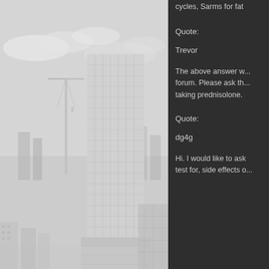[Figure (photo): Grayscale aerial photo of a city skyline featuring a tall modern glass office building/skyscraper with a crane visible to its left, and lower surrounding urban buildings below.]
cycles, Sarms for fat
Quote:
Trevor
The above answer w... forum. Please ask th... taking prednisolone.
Quote:
dg4g
Hi. I would like to ask test for, side effects o...